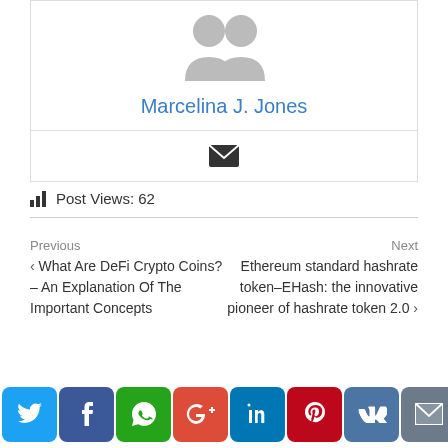[Figure (illustration): Grey placeholder avatar icon (person silhouette)]
Marcelina J. Jones
[Figure (illustration): Email envelope icon]
Post Views: 62
Previous
What Are DeFi Crypto Coins? – An Explanation Of The Important Concepts
Next
Ethereum standard hashrate token–EHash: the innovative pioneer of hashrate token 2.0
[Figure (illustration): Social sharing buttons row: Twitter, Facebook, WhatsApp, Google+, LinkedIn, Pinterest, VK, Email, Share]